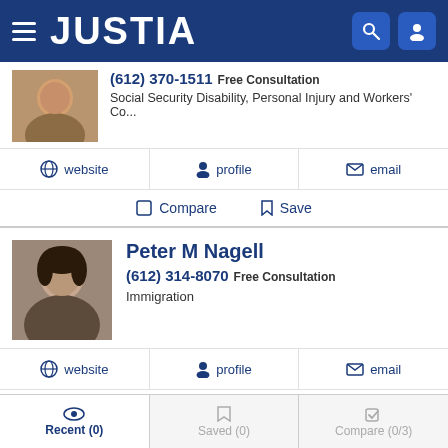JUSTIA
(612) 370-1511 Free Consultation
Social Security Disability, Personal Injury and Workers' Co...
website  profile  email
Compare  Save
Peter M Nagell
(612) 314-8070 Free Consultation
Immigration
website  profile  email
Compare  Save
Recent (0)  Saved (0)  Compare (0/3)